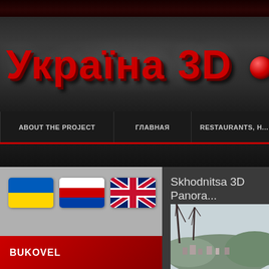[Figure (screenshot): Website header with 'Україна 3D • Ukr' logo in red 3D text on dark gray background with a red 3D ball separator]
ABOUT THE PROJECT | ГЛАВНАЯ | RESTAURANTS, H...
[Figure (screenshot): Language flags: Ukrainian, Russian, and UK/English flags]
Skhodnitsa 3D Panora...
BUKOVEL
[Figure (photo): Landscape photo showing a town view with bare trees and hills in the background]